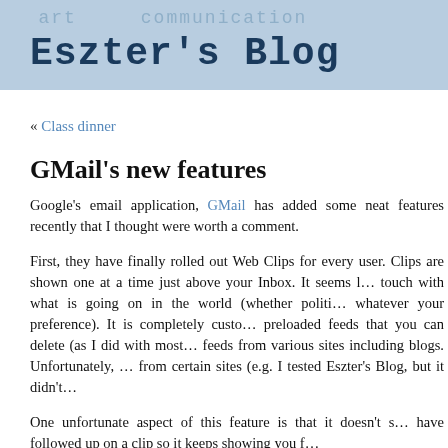Eszter's Blog — art communication travel research
« Class dinner
GMail's new features
Google's email application, GMail has added some neat features recently that I thought were worth a comment.
First, they have finally rolled out Web Clips for every user. Clips are shown one at a time just above your Inbox. It seems like a good way to stay touch with what is going on in the world (whether politics, sports, tech or whatever your preference). It is completely customizable. It comes with preloaded feeds that you can delete (as I did with most of them) and you can add feeds from various sites including blogs. Unfortunately, you can't get clips from certain sites (e.g. I tested Eszter's Blog, but it didn't…
One unfortunate aspect of this feature is that it doesn't s… have followed up on a clip so it keeps showing you f…